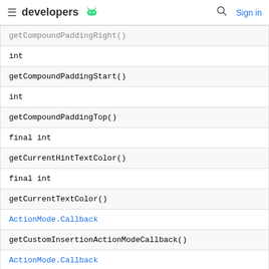developers [android logo] Sign in
| getCompoundPaddingRight() [partial/clipped] |
| int |
| getCompoundPaddingStart() |
| int |
| getCompoundPaddingTop() |
| final int |
| getCurrentHintTextColor() |
| final int |
| getCurrentTextColor() |
| ActionMode.Callback |
| getCustomInsertionActionModeCallback() |
| ActionMode.Callback |
| getCustomSelectionActionModeCallback() |
| boolean |